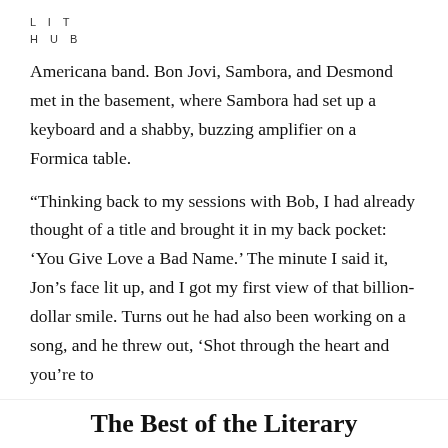LIT
HUB
Americana band. Bon Jovi, Sambora, and Desmond met in the basement, where Sambora had set up a keyboard and a shabby, buzzing amplifier on a Formica table.
“Thinking back to my sessions with Bob, I had already thought of a title and brought it in my back pocket: ‘You Give Love a Bad Name.’ The minute I said it, Jon’s face lit up, and I got my first view of that billion-dollar smile. Turns out he had also been working on a song, and he threw out, ‘Shot through the heart and you’re to
The Best of the Literary